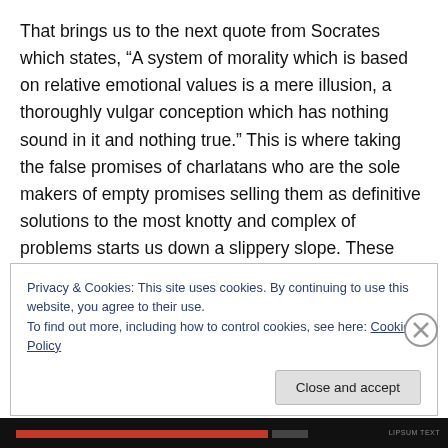That brings us to the next quote from Socrates which states, “A system of morality which is based on relative emotional values is a mere illusion, a thoroughly vulgar conception which has nothing sound in it and nothing true.” This is where taking the false promises of charlatans who are the sole makers of empty promises selling them as definitive solutions to the most knotty and complex of problems starts us down a slippery slope. These have the ability to sell a framing of the problem in such a way that their solution appears obvious but nobody seems to think
Privacy & Cookies: This site uses cookies. By continuing to use this website, you agree to their use.
To find out more, including how to control cookies, see here: Cookie Policy
Close and accept